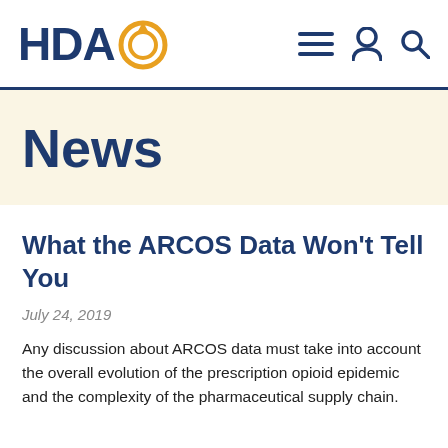[Figure (logo): HDA logo with circular arrow icon in gold/orange, text in dark navy blue]
News
What the ARCOS Data Won’t Tell You
July 24, 2019
Any discussion about ARCOS data must take into account the overall evolution of the prescription opioid epidemic and the complexity of the pharmaceutical supply chain.